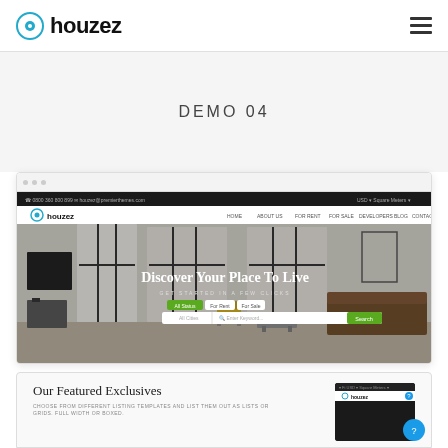houzez
DEMO 04
[Figure (screenshot): Browser mockup showing Houzez real estate website demo with hero image of a modern living room interior, navigation bar, and 'Discover Your Place To Live' headline with property search bar]
[Figure (screenshot): Partial browser mockup showing 'Our Featured Exclusives' section with subtitle text and a small dark browser thumbnail on the right, plus a blue circular help button]